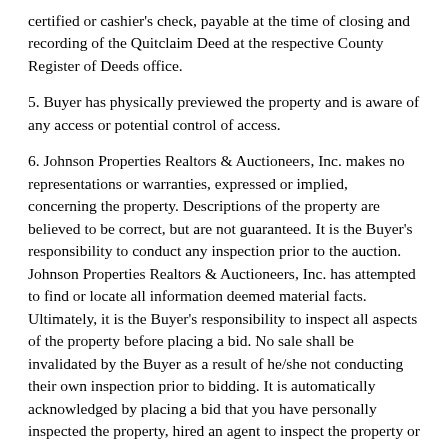certified or cashier's check, payable at the time of closing and recording of the Quitclaim Deed at the respective County Register of Deeds office.
5. Buyer has physically previewed the property and is aware of any access or potential control of access.
6. Johnson Properties Realtors & Auctioneers, Inc. makes no representations or warranties, expressed or implied, concerning the property. Descriptions of the property are believed to be correct, but are not guaranteed. It is the Buyer's responsibility to conduct any inspection prior to the auction. Johnson Properties Realtors & Auctioneers, Inc. has attempted to find or locate all information deemed material facts. Ultimately, it is the Buyer's responsibility to inspect all aspects of the property before placing a bid. No sale shall be invalidated by the Buyer as a result of he/she not conducting their own inspection prior to bidding. It is automatically acknowledged by placing a bid that you have personally inspected the property, hired an agent to inspect the property or waived your right to inspect the property.
8. All properties are offered “AS IS, WHERE IS” with no warranties either written or implied. Potential buyers are encouraged to conduct all appropriate attribute (inspections) to